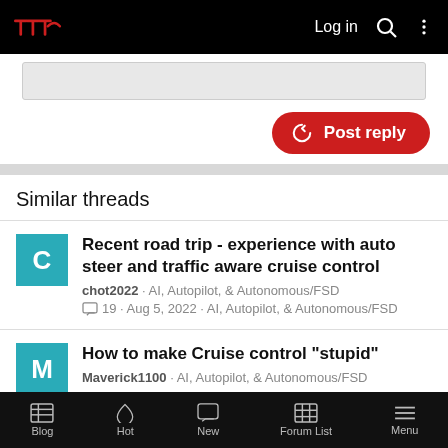TMC | Log in (search) (menu)
[Figure (screenshot): Partially visible gray content box (reply text area)]
Post reply
Similar threads
Recent road trip - experience with auto steer and traffic aware cruise control
chot2022 · AI, Autopilot, & Autonomous/FSD
19 · Aug 5, 2022 · AI, Autopilot, & Autonomous/FSD
How to make Cruise control "stupid"
Maverick1100 · AI, Autopilot, & Autonomous/FSD
Blog | Hot | New | Forum List | Menu